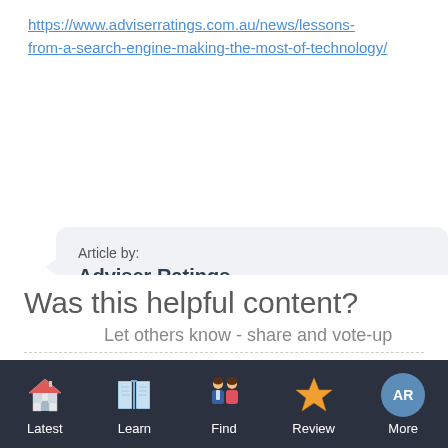https://www.adviserratings.com.au/news/lessons-from-a-search-engine-making-the-most-of-technology/
Article by:
Adviser Ratings
Was this helpful content?
Let others know - share and vote-up
Latest | Learn | Find | Review | More